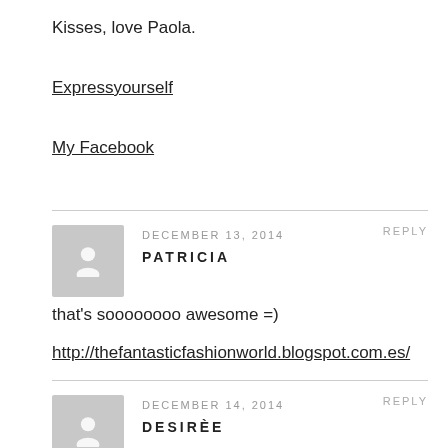Kisses, love Paola.
Expressyourself
My Facebook
DECEMBER 13, 2014
REPLY
PATRICIA
that's soooooooo awesome =)
http://thefantasticfashionworld.blogspot.com.es/
DECEMBER 14, 2014
REPLY
DESIRÈE